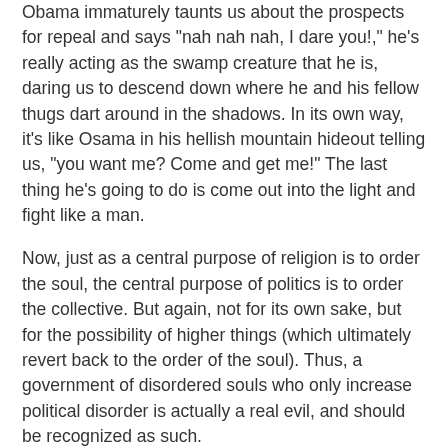Obama immaturely taunts us about the prospects for repeal and says "nah nah nah, I dare you!," he's really acting as the swamp creature that he is, daring us to descend down where he and his fellow thugs dart around in the shadows. In its own way, it's like Osama in his hellish mountain hideout telling us, "you want me? Come and get me!" The last thing he's going to do is come out into the light and fight like a man.
Now, just as a central purpose of religion is to order the soul, the central purpose of politics is to order the collective. But again, not for its own sake, but for the possibility of higher things (which ultimately revert back to the order of the soul). Thus, a government of disordered souls who only increase political disorder is actually a real evil, and should be recognized as such.
After all, this is why Obama's fellow traveler, the nakedly evil Castro, is so proud of him at this moment -- although he will reserve full approval until Obama can ram through some equally disordered authoritarian legislation under the pretext of "climate change"; and surely, yesterday's humiliation of...